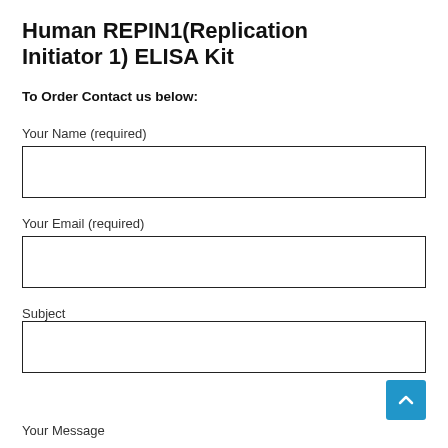Human REPIN1(Replication Initiator 1) ELISA Kit
To Order Contact us below:
Your Name (required)
Your Email (required)
Subject
Your Message